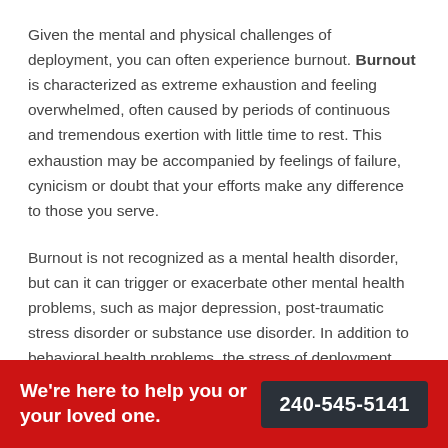Given the mental and physical challenges of deployment, you can often experience burnout. Burnout is characterized as extreme exhaustion and feeling overwhelmed, often caused by periods of continuous and tremendous exertion with little time to rest. This exhaustion may be accompanied by feelings of failure, cynicism or doubt that your efforts make any difference to those you serve.
Burnout is not recognized as a mental health disorder, but can it can trigger or exacerbate other mental health problems, such as major depression, post-traumatic stress disorder or substance use disorder. In addition to behavioral health problems, the stress of deployment can greatly threaten your immune system and physical health.
We're here to help you or your loved one.
240-545-5141